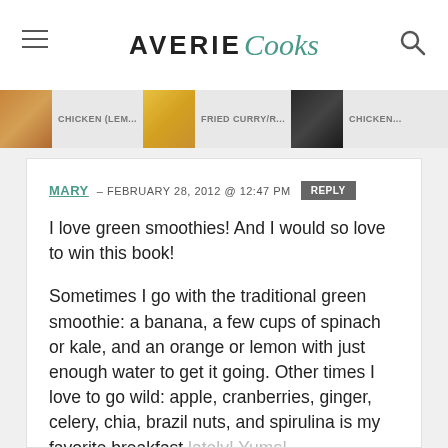AVERIE Cooks
[Figure (screenshot): Navigation strip showing food thumbnail images with partially visible labels: Chicken (Lem..., Fried Curry/r..., Chicken...]
MARY – FEBRUARY 28, 2012 @ 12:47 PM [REPLY]
I love green smoothies! And I would so love to win this book!

Sometimes I go with the traditional green smoothie: a banana, a few cups of spinach or kale, and an orange or lemon with just enough water to get it going. Other times I love to go wild: apple, cranberries, ginger, celery, chia, brazil nuts, and spirulina is my favorite breakfast lately! Yums!

A spoonful of rice protein is a great addition too.